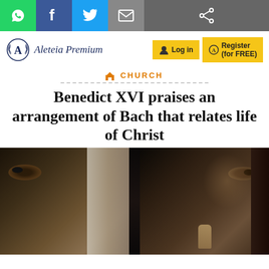Social share toolbar with WhatsApp, Facebook, Twitter, Email, Share buttons
[Figure (logo): Aleteia Premium logo with laurel wreath letter A]
Aleteia Premium
Log in
Register (for FREE)
CHURCH
Benedict XVI praises an arrangement of Bach that relates life of Christ
[Figure (photo): Composite painting showing close-up faces of two men — one wearing a baroque white wig on the left (presumably Bach), and one with long brown hair on the right (presumably Christ). Dark background between them.]